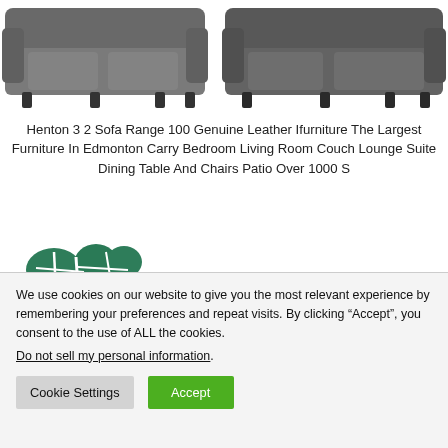[Figure (photo): Two gray leather sofas — a 3-seater on the left and a 2-seater on the right, cropped at the top]
Henton 3 2 Sofa Range 100 Genuine Leather Ifurniture The Largest Furniture In Edmonton Carry Bedroom Living Room Couch Lounge Suite Dining Table And Chairs Patio Over 1000 S
[Figure (logo): Green world map with tree roots logo]
We use cookies on our website to give you the most relevant experience by remembering your preferences and repeat visits. By clicking “Accept”, you consent to the use of ALL the cookies.
Do not sell my personal information.
Cookie Settings  Accept